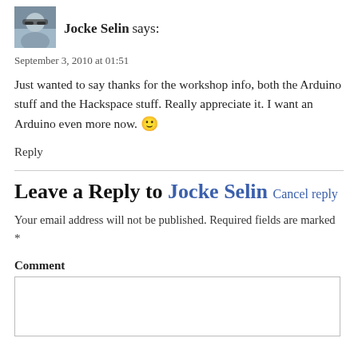[Figure (photo): Avatar photo of Jocke Selin, a person wearing sunglasses outdoors]
Jocke Selin says:
September 3, 2010 at 01:51
Just wanted to say thanks for the workshop info, both the Arduino stuff and the Hackspace stuff. Really appreciate it. I want an Arduino even more now. 🙂
Reply
Leave a Reply to Jocke Selin Cancel reply
Your email address will not be published. Required fields are marked *
Comment